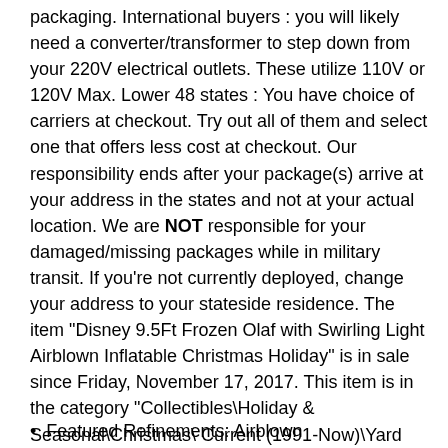packaging. International buyers : you will likely need a converter/transformer to step down from your 220V electrical outlets. These utilize 110V or 120V Max. Lower 48 states : You have choice of carriers at checkout. Try out all of them and select one that offers less cost at checkout. Our responsibility ends after your package(s) arrive at your address in the states and not at your actual location. We are NOT responsible for your damaged/missing packages while in military transit. If you're not currently deployed, change your address to your stateside residence. The item "Disney 9.5Ft Frozen Olaf with Swirling Light Airblown Inflatable Christmas Holiday" is in sale since Friday, November 17, 2017. This item is in the category "Collectibles\Holiday & Seasonal\Christmas\ Current (1991-Now)\Yard Décor". The seller is "bikerstuff247" and is located in Saint Peters, Missouri. This item can be shipped to United States.
Featured Refinements: Airblown